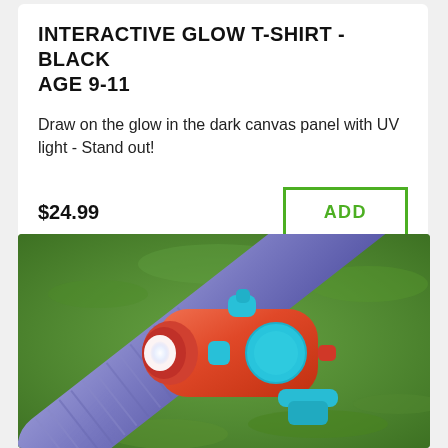INTERACTIVE GLOW T-SHIRT - BLACK AGE 9-11
Draw on the glow in the dark canvas panel with UV light - Stand out!
$24.99
ADD
[Figure (photo): Close-up photo of a red and cyan/turquoise children's bike light mounted on a purple bicycle handlebar, with a glowing white LED front, set against a blurred green grass background.]